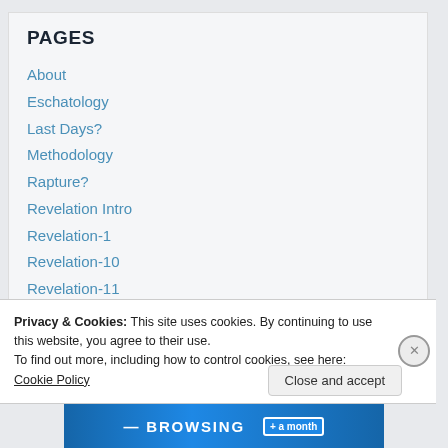PAGES
About
Eschatology
Last Days?
Methodology
Rapture?
Revelation Intro
Revelation-1
Revelation-10
Revelation-11
Privacy & Cookies: This site uses cookies. By continuing to use this website, you agree to their use.
To find out more, including how to control cookies, see here: Cookie Policy
Close and accept